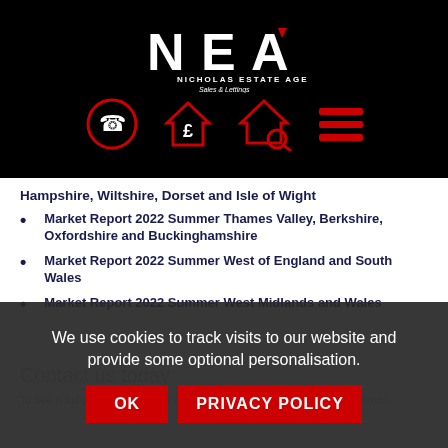[Figure (logo): NEA - Nicholas Estate Agents Sales & Lettings logo on black background with nav icons (phone, house with pound, house with magnifier, menu)]
Hampshire, Wiltshire, Dorset and Isle of Wight
Market Report 2022 Summer Thames Valley, Berkshire, Oxfordshire and Buckinghamshire
Market Report 2022 Summer West of England and South Wales
Market Report 2022 Summer West Midlands and Wales
We use cookies to track visits to our website and provide some optional personalisation.
OK   PRIVACY POLICY
Contact us today
To see a full copy of the Go…rt and for further guidance on the home movin…